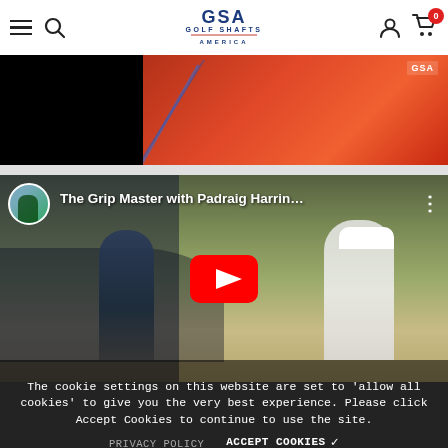GSA Golf Shafts America - navigation header with hamburger menu, search, logo, user icon, and cart (0)
[Figure (screenshot): Partially visible video thumbnail showing a golfer in a red shirt holding a golf shaft, black left portion]
[Figure (screenshot): YouTube video embed titled 'The Grip Master with Padraig Harrin...' with play button, avatar thumbnail, and three-dot menu]
The cookie settings on this website are set to 'allow all cookies' to give you the very best experience. Please click Accept Cookies to continue to use the site.
PRIVACY POLICY   ACCEPT COOKIES ✓